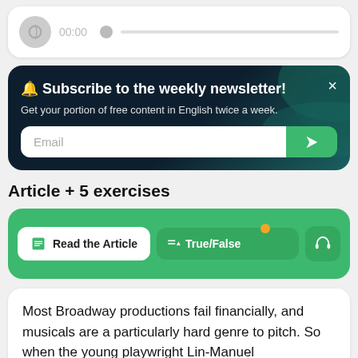[Figure (screenshot): Audio player card with circular icon, 00:00 timestamp, and a progress bar with thumb slider]
[Figure (infographic): Dark navy newsletter subscription banner with title '🔔 Subscribe to the weekly newsletter!', subtitle 'Get your portion of free content in English twice a week.', email input field, and green submit button with arrow icon]
Article + 5 exercises
[Figure (screenshot): Green exercise bar with 'Read the Article' white button, 'True/False' green button with orange notification dot, and headphone icon button]
Most Broadway productions fail financially, and musicals are a particularly hard genre to pitch. So when the young playwright Lin-Manuel